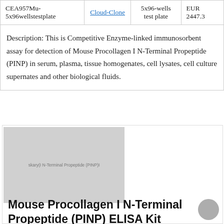|  |  |  |  |
| --- | --- | --- | --- |
| CEA957Mu-5x96wellstestplate | Cloud-Clone | 5x96-wells test plate | EUR 2447.3 |
| Description: This is Competitive Enzyme-linked immunosorbent assay for detection of Mouse Procollagen I N-Terminal Propeptide (PINP) in serum, plasma, tissue homogenates, cell lysates, cell culture supernates and other biological fluids. |  |  |  |
[Figure (photo): Grayscale placeholder image of the product with text overlay 'skary(I N-Terminal Propeptide (PINP)I']
Mouse Procollagen I N-Terminal Propeptide (PINP) ELISA Kit